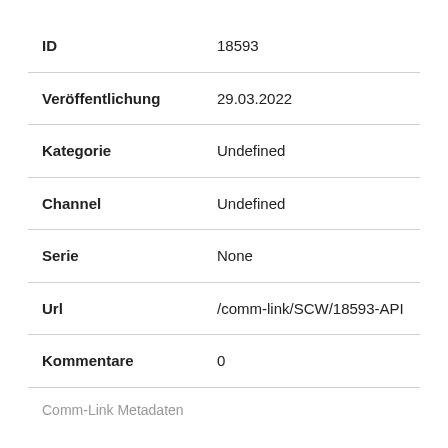| Field | Value |
| --- | --- |
| ID | 18593 |
| Veröffentlichung | 29.03.2022 |
| Kategorie | Undefined |
| Channel | Undefined |
| Serie | None |
| Url | /comm-link/SCW/18593-API |
| Kommentare | 0 |
Comm-Link Metadaten